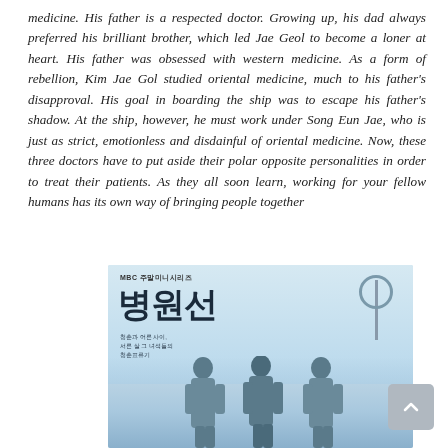medicine. His father is a respected doctor. Growing up, his dad always preferred his brilliant brother, which led Jae Geol to become a loner at heart. His father was obsessed with western medicine. As a form of rebellion, Kim Jae Gol studied oriental medicine, much to his father's disapproval. His goal in boarding the ship was to escape his father's shadow. At the ship, however, he must work under Song Eun Jae, who is just as strict, emotionless and disdainful of oriental medicine. Now, these three doctors have to put aside their polar opposite personalities in order to treat their patients. As they all soon learn, working for your fellow humans has its own way of bringing people together
[Figure (photo): Korean drama poster for MBC mini-series showing Korean text title (병원선) with subtitle text and figures of people at bottom, light blue sky background]